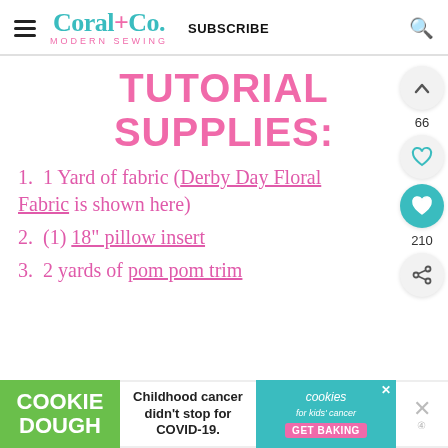Coral+Co. Modern Sewing — SUBSCRIBE
TUTORIAL SUPPLIES:
1. 1 Yard of fabric (Derby Day Floral Fabric is shown here)
2. (1) 18" pillow insert
3. 2 yards of pom pom trim
[Figure (screenshot): Cookie Dough / Cookies for Kids Cancer ad banner at bottom of page]